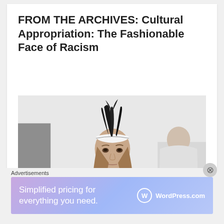FROM THE ARCHIVES: Cultural Appropriation: The Fashionable Face of Racism
[Figure (photo): Fashion runway photo showing a model wearing a white outfit and a white headband with black feathers on top, walking toward the camera. Another model in white is visible in the background on the right. The setting is a white-walled runway space.]
Advertisements
[Figure (infographic): WordPress.com advertisement banner with purple-blue gradient background. Text reads 'Simplified pricing for everything you need.' with WordPress.com logo on the right.]